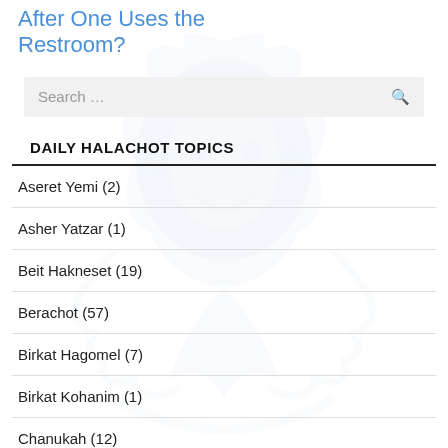After One Uses the Restroom?
DAILY HALACHOT TOPICS
Aseret Yemi (2)
Asher Yatzar (1)
Beit Hakneset (19)
Berachot (57)
Birkat Hagomel (7)
Birkat Kohanim (1)
Chanukah (12)